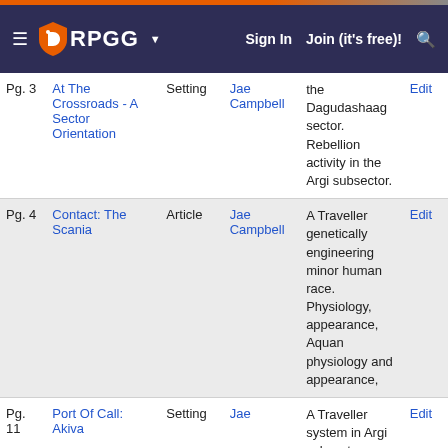RPGG — Sign In | Join (it's free)!
| Pg. | Title | Type | Author | Description | Action |
| --- | --- | --- | --- | --- | --- |
| Pg. 3 | At The Crossroads - A Sector Orientation | Setting | Jae Campbell | the Dagudashaag sector. Rebellion activity in the Argi subsector. | Edit |
| Pg. 4 | Contact: The Scania | Article | Jae Campbell | A Traveller genetically engineering minor human race. Physiology, appearance, Aquan physiology and appearance, | Edit |
| Pg. 11 | Port Of Call: Akiva | Setting | Jae | A Traveller system in Argi subsector, | Edit |